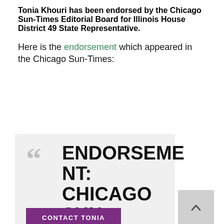Tonia Khouri has been endorsed by the Chicago Sun-Times Editorial Board for Illinois House District 49 State Representative.
Here is the endorsement which appeared in the Chicago Sun-Times:
[Figure (other): Quote box with large quotation marks and bold text reading 'ENDORSEMENT: CHICAGO SUN-TIMES ENDORSES' on a light grey background, with a purple 'CONTACT TONIA' button at the bottom]